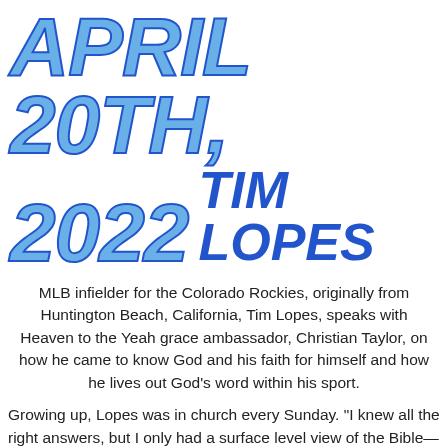APRIL 20TH, 2022 TIM LOPES
MLB infielder for the Colorado Rockies, originally from Huntington Beach, California, Tim Lopes, speaks with Heaven to the Yeah grace ambassador, Christian Taylor, on how he came to know God and his faith for himself and how he lives out God's word within his sport.
Growing up, Lopes was in church every Sunday. “I knew all the right answers, but I only had a surface level view of the Bible—never a firm relationship with Jesus.” Lopes goes on to describe his lukewarm walk with the Lord, that was until he his high school. When he got to high school, his coach approached him about that they should have Bible Study to come together as th